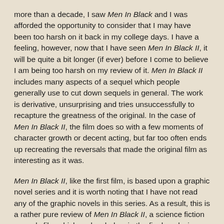more than a decade, I saw Men In Black and I was afforded the opportunity to consider that I may have been too harsh on it back in my college days. I have a feeling, however, now that I have seen Men In Black II, it will be quite a bit longer (if ever) before I come to believe I am being too harsh on my review of it. Men In Black II includes many aspects of a sequel which people generally use to cut down sequels in general. The work is derivative, unsurprising and tries unsuccessfully to recapture the greatness of the original. In the case of Men In Black II, the film does so with a few moments of character growth or decent acting, but far too often ends up recreating the reversals that made the original film as interesting as it was.
Men In Black II, like the first film, is based upon a graphic novel series and it is worth noting that I have not read any of the graphic novels in this series. As a result, this is a rather pure review of Men In Black II, a science fiction comedy film which underwhelms in the final analysis.
Five years after Agent Jay began working for the Men In Black, he has found it difficult to work for any extended time